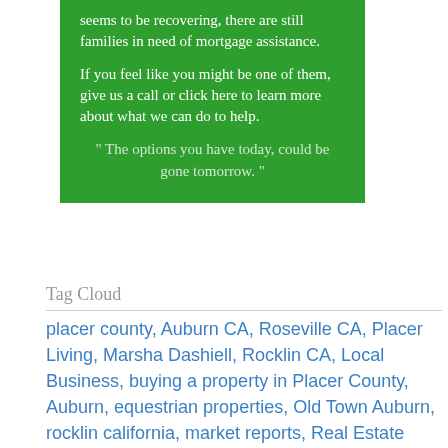seems to be recovering, there are still families in need of mortgage assistance.

If you feel like you might be one of them, give us a call or click here to learn more about what we can do to help.

“ The options you have today, could be gone tomorrow. ”
Tag Cloud
placer county, Auburn CA, Roseville CA, Placer Living, Marsha Dashiell, Rocklin CA, Local Business, buying a property in Placer County, Auburn, equestrian properties, Old Town Auburn, rocklin california, market reports, Real Estate Placer Living,